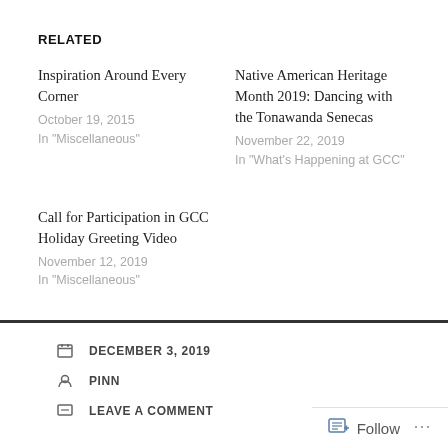RELATED
Inspiration Around Every Corner
October 19, 2015
In "Miscellaneous"
Native American Heritage Month 2019: Dancing with the Tonawanda Senecas
November 22, 2019
In "What's Happening at GCC"
Call for Participation in GCC Holiday Greeting Video
November 12, 2019
In "Miscellaneous"
DECEMBER 3, 2019
PINN
LEAVE A COMMENT